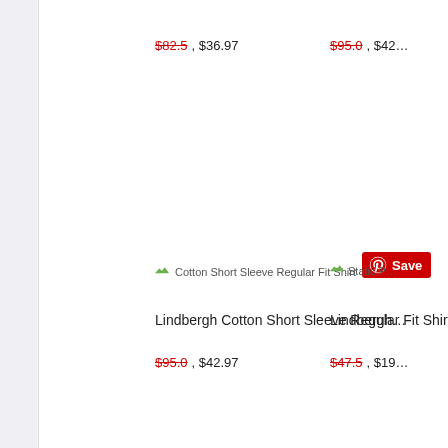$82.5, $36.97
$95.0, $42…
[Figure (photo): Cotton Short Sleeve Regular Fit Shirt product image placeholder with Pinterest Save button]
[Figure (photo): Static P… product image placeholder (right column, cropped)]
Lindbergh Cotton Short Sleeve Regular Fit Shirt
Lindbergh…
$95.0, $42.97
$47.5, $19…